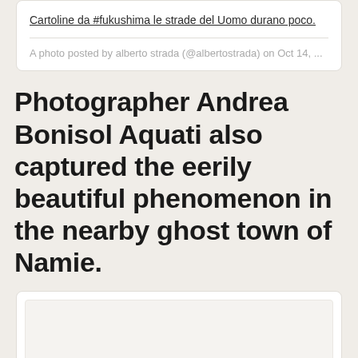Cartoline da #fukushima le strade del Uomo durano poco.
A photo posted by alberto strada (@albertostrada) on Oct 14, ...
Photographer Andrea Bonisol Aquati also captured the eerily beautiful phenomenon in the nearby ghost town of Namie.
[Figure (photo): Embedded photo card, mostly blank/white placeholder image]